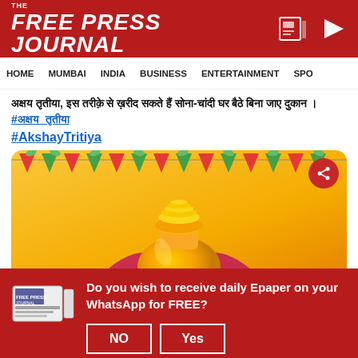THE FREE PRESS JOURNAL
HOME  MUMBAI  INDIA  BUSINESS  ENTERTAINMENT  SPO
अक्षय तृतीया, इस तरीक़े से ख़रीद सकते हैं सोना-चांदी घर बैठे बिना जाए दुकान #अक्षय_तृतीया #AkshayTritiya
[Figure (illustration): Akshay Tritiya festival illustration with golden pot of coins on pink lotus, decorative bunting and golden background]
Do you wish to receive daily Epaper on your WhatsApp for FREE?